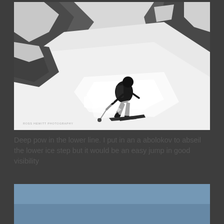[Figure (photo): Black and white photograph of a skier making a deep powder turn between rocky outcroppings in steep mountain terrain. The skier is dressed in dark clothing with a backpack, creating a spray of powder snow. Photo credit: ROSS HEWITT PHOTOGRAPHY]
Deep pow in the lower line. I put in an a abolokov to abseil the lower ice step but it would be an easy jump in good visibility
[Figure (photo): Partial view of a blue sky photograph, showing the top portion of the next image on the page.]